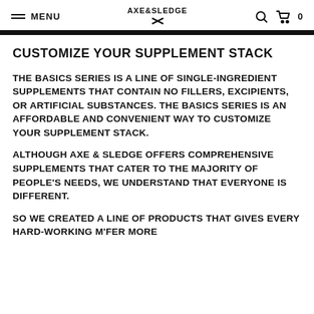MENU | AXE & SLEDGE | Search | Cart 0
CUSTOMIZE YOUR SUPPLEMENT STACK
THE BASICS SERIES IS A LINE OF SINGLE-INGREDIENT SUPPLEMENTS THAT CONTAIN NO FILLERS, EXCIPIENTS, OR ARTIFICIAL SUBSTANCES. THE BASICS SERIES IS AN AFFORDABLE AND CONVENIENT WAY TO CUSTOMIZE YOUR SUPPLEMENT STACK.
ALTHOUGH AXE & SLEDGE OFFERS COMPREHENSIVE SUPPLEMENTS THAT CATER TO THE MAJORITY OF PEOPLE'S NEEDS, WE UNDERSTAND THAT EVERYONE IS DIFFERENT.
SO WE CREATED A LINE OF PRODUCTS THAT GIVES EVERY HARD-WORKING M'FER MORE